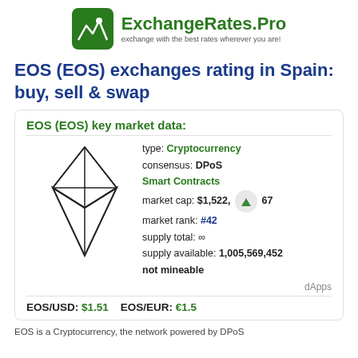[Figure (logo): ExchangeRates.Pro logo with green mountain/chart icon and site name]
EOS (EOS) exchanges rating in Spain: buy, sell & swap
EOS (EOS) key market data:
[Figure (illustration): EOS cryptocurrency geometric diamond/crystal logo in black outline]
type: Cryptocurrency
consensus: DPoS
Smart Contracts
market cap: $1,522, 67
market rank: #42
supply total: ∞
supply available: 1,005,569,452
not mineable
dApps
EOS/USD: $1.51    EOS/EUR: €1.5
EOS is a Cryptocurrency, the network powered by DPoS